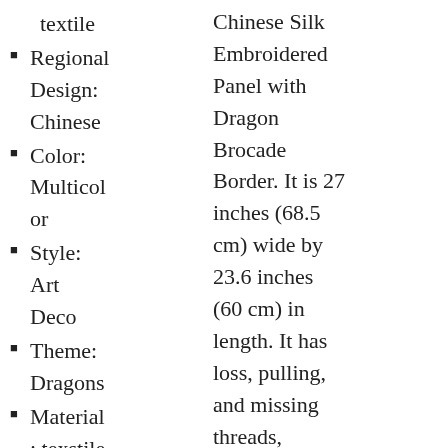textile
Regional Design: Chinese
Color: Multicolor
Style: Art Deco
Theme: Dragons
Material: texstile
Time
Chinese Silk Embroidered Panel with Dragon Brocade Border. It is 27 inches (68.5 cm) wide by 23.6 inches (60 cm) in length. It has loss, pulling, and missing threads, discolorations, stains, frayed